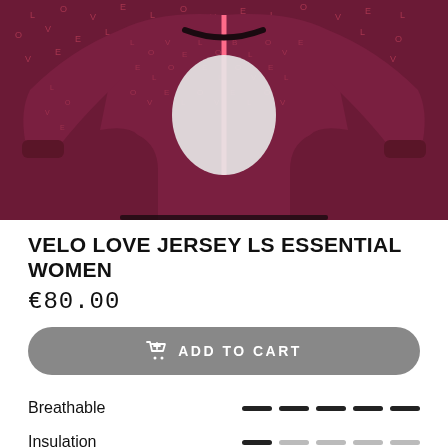[Figure (photo): Product photo of a dark burgundy/maroon long-sleeve cycling jersey with pink accent zipper and scattered text pattern, cropped to show upper body portion]
VELO LOVE JERSEY LS ESSENTIAL WOMEN
€80.00
ADD TO CART
Breathable — 5-bar rating (all bars filled dark)
Insulation — 5-bar rating (1 bar filled dark, 4 light)
Windproof — 5-bar rating (1 bar filled dark, 4 light)